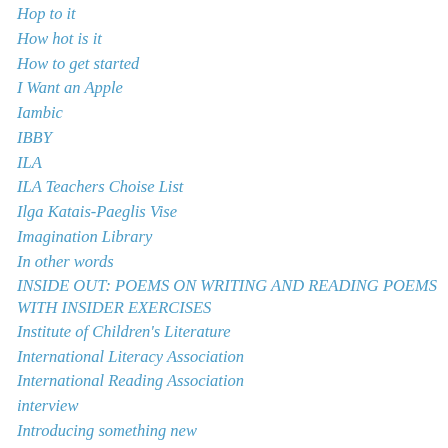Hop to it
How hot is it
How to get started
I Want an Apple
Iambic
IBBY
ILA
ILA Teachers Choise List
Ilga Katais-Paeglis Vise
Imagination Library
In other words
INSIDE OUT: POEMS ON WRITING AND READING POEMS WITH INSIDER EXERCISES
Institute of Children's Literature
International Literacy Association
International Reading Association
interview
Introducing something new
IRA
Irene Latham